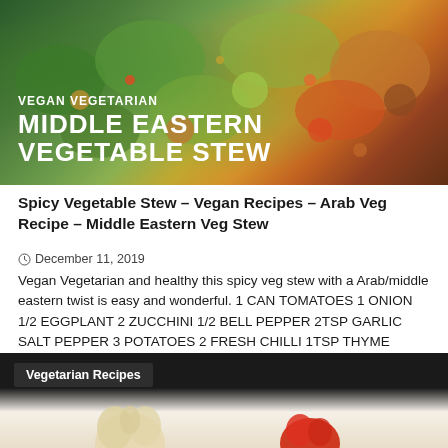[Figure (photo): Photo of Middle Eastern vegetable stew in a bowl with text overlay: VEGAN VEGETARIAN MIDDLE EASTERN VEGETABLE STEW]
Spicy Vegetable Stew – Vegan Recipes – Arab Veg Recipe – Middle Eastern Veg Stew
December 11, 2019
Vegan Vegetarian and healthy this spicy veg stew with a Arab/middle eastern twist is easy and wonderful. 1 CAN TOMATOES 1 ONION 1/2 EGGPLANT 2 ZUCCHINI 1/2 BELL PEPPER 2TSP GARLIC SALT PEPPER 3 POTATOES 2 FRESH CHILLI 1TSP THYME FLAKED DRIED CHILLI 1TSP CUMIN 1TSP CORIANDER 1TSP CHILLI POWDER 1TSP PEPPERCORNS OIL WATER Buy...
[Figure (photo): Dark background image with Vegetarian Recipes badge and food items partially visible at bottom]